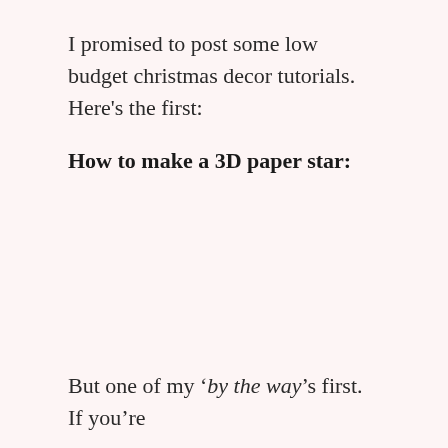I promised to post some low budget christmas decor tutorials. Here's the first:
How to make a 3D paper star:
But one of my ‘by the way’s first. If you’re